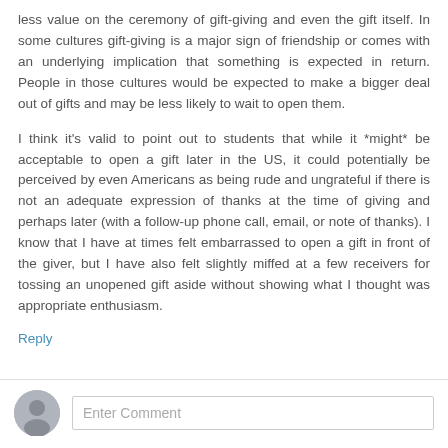less value on the ceremony of gift-giving and even the gift itself. In some cultures gift-giving is a major sign of friendship or comes with an underlying implication that something is expected in return. People in those cultures would be expected to make a bigger deal out of gifts and may be less likely to wait to open them.
I think it's valid to point out to students that while it *might* be acceptable to open a gift later in the US, it could potentially be perceived by even Americans as being rude and ungrateful if there is not an adequate expression of thanks at the time of giving and perhaps later (with a follow-up phone call, email, or note of thanks). I know that I have at times felt embarrassed to open a gift in front of the giver, but I have also felt slightly miffed at a few receivers for tossing an unopened gift aside without showing what I thought was appropriate enthusiasm.
Reply
Enter Comment